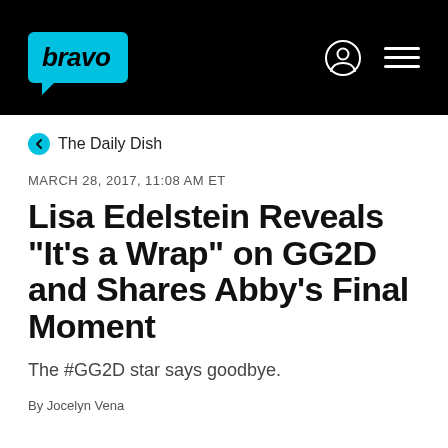[Figure (logo): Bravo TV website header with black background, cyan Bravo logo speech bubble on left, user account icon and hamburger menu icon on right]
< The Daily Dish
MARCH 28, 2017, 11:08 AM ET
Lisa Edelstein Reveals "It's a Wrap" on GG2D and Shares Abby's Final Moment
The #GG2D star says goodbye.
By Jocelyn Vena